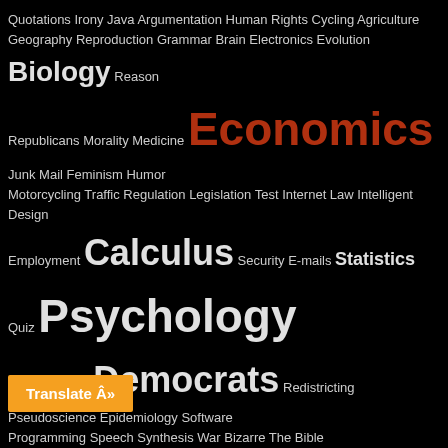[Figure (infographic): Tag cloud / word cloud on black background featuring topics such as Quotations, Irony, Java, Argumentation, Human Rights, Cycling, Agriculture, Geography, Reproduction, Grammar, Brain, Electronics, Evolution, Biology, Reason, Republicans, Morality, Medicine, Economics (large red), Junk Mail, Feminism, Humor, Motorcycling, Traffic, Regulation, Legislation, Test, Internet, Law, Intelligent Design, Employment, Calculus (large), Security, E-mails, Statistics, Quiz, Psychology (large), Fitness, Voting, Democrats (large), Redistricting, Pseudoscience, Epidemiology, Software, Programming, Speech, Synthesis, War, Bizarre, The Bible, Government (large), Technology, Film (large red), Torture, Sustainability, Credit, Environment (large), Justice, Gun Control, Elections, Reviews (large), Uncategorized, Hypocrisy, Nutrition (large), Literature, Archeology, Product Safety, Finance, Diet, News, Games, Drugs, Questions, Bible, Politics (huge red), DIY, Inconsistency, Reference (large), Translation, Health (large), Spanish (large), Judaism, Atheism, Astronomy, Audio, Letters, State, Math (large), Global Warming, History (large), Food (large), Props, Poetry, Language (large), Lies, Holidays, Green, Science (large red), Music (large), Mac, Video, Gerrymandering, Recipe, Writing, TTS, Genetics, Beverages, Unions, Words, Clothing, Education (large), The, Television, Propaganda, Weather, Sex, Immigration. An orange 'Translate »' button is visible at bottom left.]